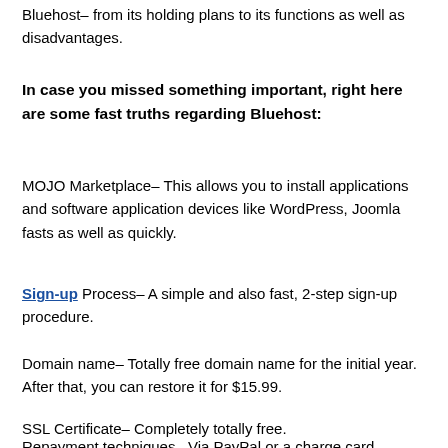Bluehost– from its holding plans to its functions as well as disadvantages.
In case you missed something important, right here are some fast truths regarding Bluehost:
MOJO Marketplace– This allows you to install applications and software application devices like WordPress, Joomla fasts as well as quickly.
Sign-up Process– A simple and also fast, 2-step sign-up procedure.
Domain name– Totally free domain name for the initial year. After that, you can restore it for $15.99.
SSL Certificate– Completely totally free.
Repayment techniques– Via PayPal or a charge card.